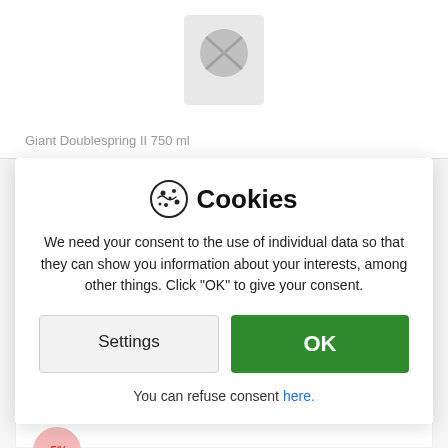Giant Doublespring II 750 ml
Cookies
We need your consent to the use of individual data so that they can show you information about your interests, among other things. Click "OK" to give your consent.
Settings
OK
You can refuse consent here.
Similar products
-5%